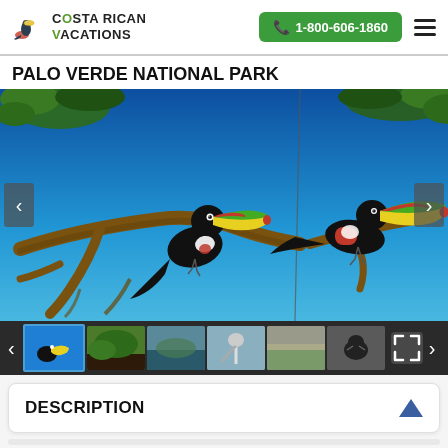Costa Rican Vacations | 1-800-606-1860
PALO VERDE NATIONAL PARK
[Figure (photo): Two keel-billed toucans perched on tree branches against a bright blue sky, with green tree leaves visible at top. A slideshow with left/right navigation arrows and thumbnail strip below.]
DESCRIPTION